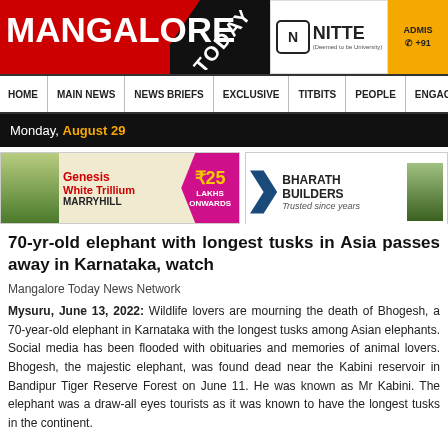MANGALORE TODAY | NITTE | ADMIS +91
HOME | MAIN NEWS | NEWS BRIEFS | EXCLUSIVE | TITBITS | PEOPLE | ENGAGE
Monday, August 29
[Figure (infographic): Genesis White Trillium MARRYHILL advertisement - ₹25 LAKHS ONWARDS]
[Figure (infographic): BHARATH BUILDERS - Trusted since years advertisement]
70-yr-old elephant with longest tusks in Asia passes away in Karnataka, watch
Mangalore Today News Network
Mysuru, June 13, 2022: Wildlife lovers are mourning the death of Bhogesh, a 70-year-old elephant in Karnataka with the longest tusks among Asian elephants. Social media has been flooded with obituaries and memories of animal lovers. Bhogesh, the majestic elephant, was found dead near the Kabini reservoir in Bandipur Tiger Reserve Forest on June 11. He was known as Mr Kabini. The elephant was a draw-all eyes tourists as it was known to have the longest tusks in the continent.